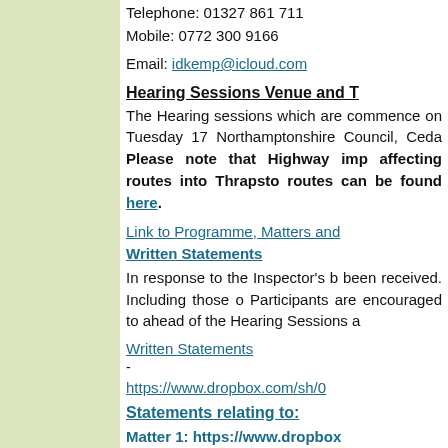Telephone: 01327 861 711
Mobile: 0772 300 9166
Email: idkemp@icloud.com
Hearing Sessions Venue and T
The Hearing sessions which are commence on Tuesday 17 Northamptonshire Council, Ceda Please note that Highway imp affecting routes into Thrapsto routes can be found here.
Link to Programme, Matters and Written Statements
In response to the Inspector's b been received. Including those o Participants are encouraged to ahead of the Hearing Sessions a
Written Statements
-
https://www.dropbox.com/sh/0
Statements relating to:
Matter 1: https://www.dropbox